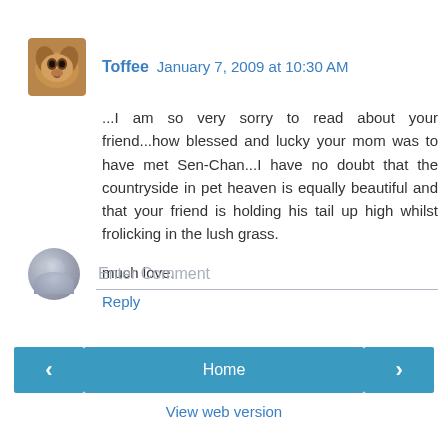Toffee  January 7, 2009 at 10:30 AM
...I am so very sorry to read about your friend...how blessed and lucky your mom was to have met Sen-Chan...I have no doubt that the countryside in pet heaven is equally beautiful and that your friend is holding his tail up high whilst frolicking in the lush grass.

much love.
Reply
Enter Comment
Home
View web version